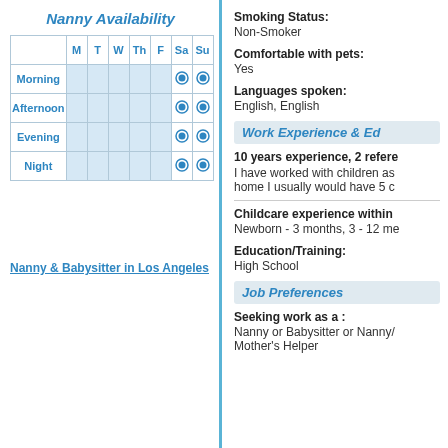Nanny Availability
|  | M | T | W | Th | F | Sa | Su |
| --- | --- | --- | --- | --- | --- | --- | --- |
| Morning |  |  |  |  |  | ● | ● |
| Afternoon |  |  |  |  |  | ● | ● |
| Evening |  |  |  |  |  | ● | ● |
| Night |  |  |  |  |  | ● | ● |
Nanny & Babysitter in Los Angeles
Smoking Status: Non-Smoker
Comfortable with pets: Yes
Languages spoken: English, English
Work Experience & Ed
10 years experience, 2 references
I have worked with children as home I usually would have 5 c
Childcare experience within
Newborn - 3 months, 3 - 12 me
Education/Training: High School
Job Preferences
Seeking work as a :
Nanny or Babysitter or Nanny/ Mother's Helper